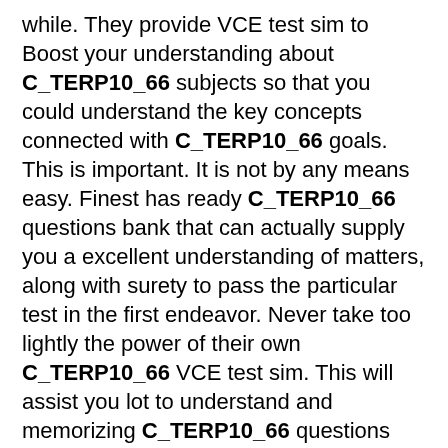while. They provide VCE test sim to Boost your understanding about C_TERP10_66 subjects so that you could understand the key concepts connected with C_TERP10_66 goals. This is important. It is not by any means easy. Finest has ready C_TERP10_66 questions bank that can actually supply you a excellent understanding of matters, along with surety to pass the particular test in the first endeavor. Never take too lightly the power of their own C_TERP10_66 VCE test sim. This will assist you lot to understand and memorizing C_TERP10_66 questions with its PDF DownloadEBOOK and VCE.
Features of Killexams C_TERP10_66